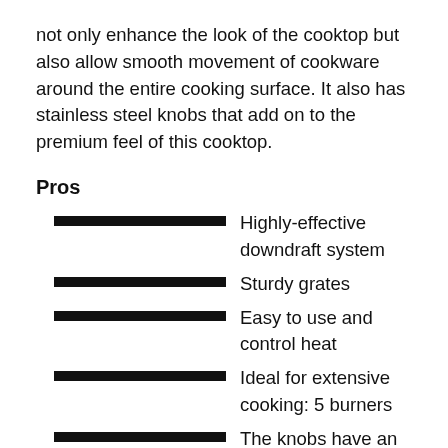not only enhance the look of the cooktop but also allow smooth movement of cookware around the entire cooking surface. It also has stainless steel knobs that add on to the premium feel of this cooktop.
Pros
Highly-effective downdraft system
Sturdy grates
Easy to use and control heat
Ideal for extensive cooking: 5 burners
The knobs have an excellent grip
Cons